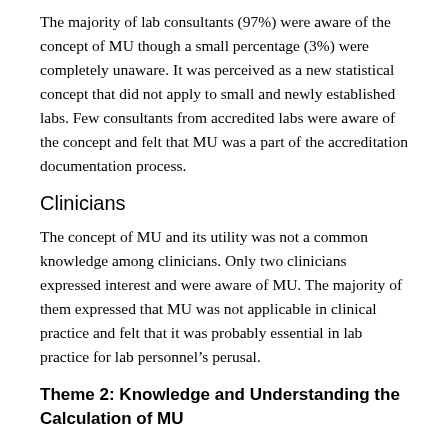The majority of lab consultants (97%) were aware of the concept of MU though a small percentage (3%) were completely unaware. It was perceived as a new statistical concept that did not apply to small and newly established labs. Few consultants from accredited labs were aware of the concept and felt that MU was a part of the accreditation documentation process.
Clinicians
The concept of MU and its utility was not a common knowledge among clinicians. Only two clinicians expressed interest and were aware of MU. The majority of them expressed that MU was not applicable in clinical practice and felt that it was probably essential in lab practice for lab personnel's perusal.
Theme 2: Knowledge and Understanding the Calculation of MU